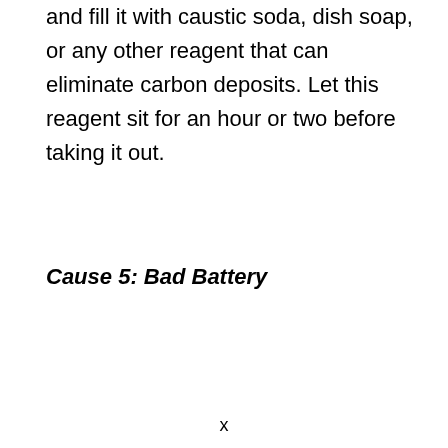and fill it with caustic soda, dish soap, or any other reagent that can eliminate carbon deposits. Let this reagent sit for an hour or two before taking it out.
Cause 5: Bad Battery
x